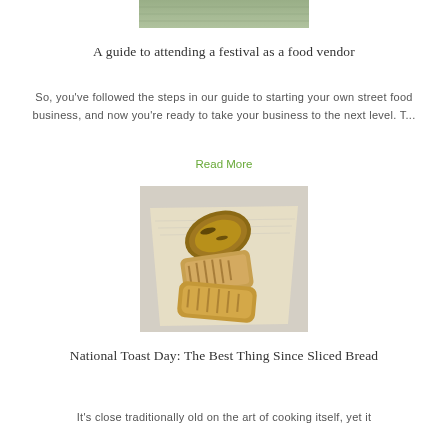[Figure (photo): Top portion of a food/outdoor image, cropped at the top of the page]
A guide to attending a festival as a food vendor
So, you've followed the steps in our guide to starting your own street food business, and now you're ready to take your business to the next level. T...
Read More
[Figure (photo): Top-down photo of grilled toast slices on parchment paper over newspaper]
National Toast Day: The Best Thing Since Sliced Bread
It's close traditionally old on the art of cooking itself, yet it